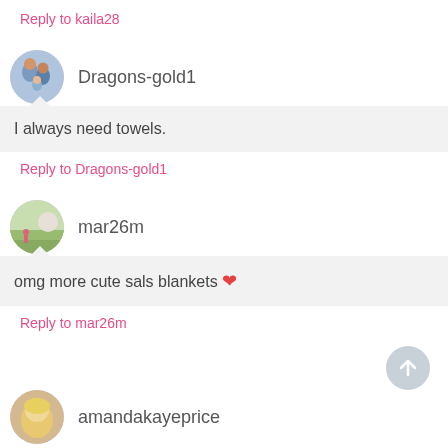Reply to kaila28
[Figure (photo): Circular avatar photo of a family group with adults and a child, blue tones]
Dragons-gold1
I always need towels.
Reply to Dragons-gold1
[Figure (photo): Circular avatar photo of an outdoor scene with a person in a yard]
mar26m
omg more cute sals blankets ❤
Reply to mar26m
[Figure (photo): Circular avatar photo of a blonde woman]
amandakayeprice